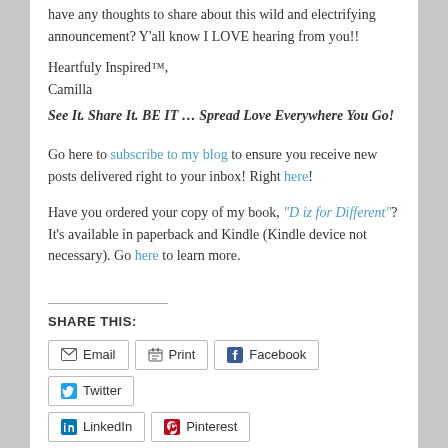have any thoughts to share about this wild and electrifying announcement? Y'all know I LOVE hearing from you!!
Heartfuly Inspired™,
Camilla
See It. Share It. BE IT … Spread Love Everywhere You Go!
Go here to subscribe to my blog to ensure you receive new posts delivered right to your inbox! Right here!
Have you ordered your copy of my book, "D iz for Different"? It's available in paperback and Kindle (Kindle device not necessary). Go here to learn more.
SHARE THIS:
Email | Print | Facebook | Twitter | LinkedIn | Pinterest